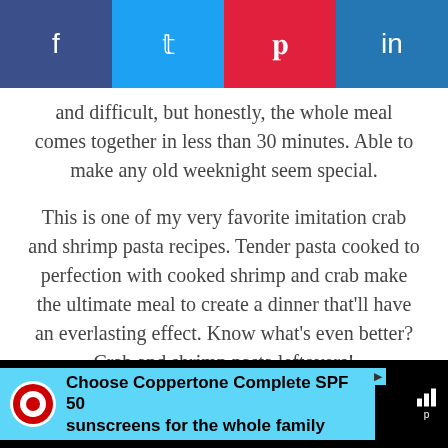[Figure (other): Social media sharing bar with Facebook, Twitter, Pinterest, and LinkedIn buttons]
and difficult, but honestly, the whole meal comes together in less than 30 minutes. Able to make any old weeknight seem special.
This is one of my very favorite imitation crab and shrimp pasta recipes. Tender pasta cooked to perfection with cooked shrimp and crab make the ultimate meal to create a dinner that'll have an everlasting effect. Know what's even better? Crab and shrimp pasta leftovers!
[Figure (other): Advertisement banner for Coppertone Complete SPF 50 sunscreens with Target logo]